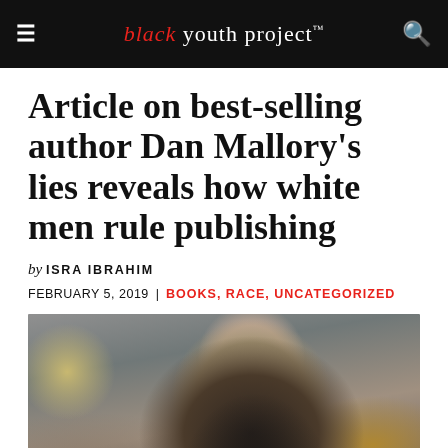black youth project™
Article on best-selling author Dan Mallory's lies reveals how white men rule publishing
by ISRA IBRAHIM
FEBRUARY 5, 2019 | BOOKS, RACE, UNCATEGORIZED
[Figure (photo): Photo of Dan Mallory, a white man with short brown hair wearing a dark jacket, smiling slightly, photographed indoors with a blurred background.]